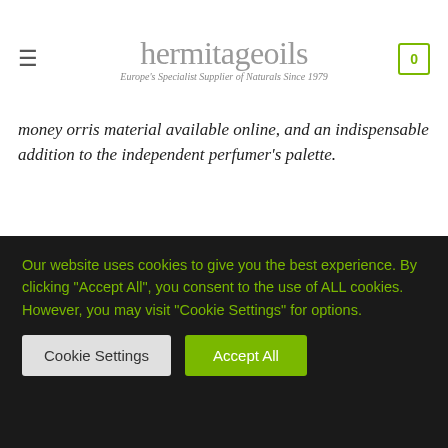hermitageoils — Europe's Specialist Supplier of Naturals Since 1979
money orris material available online, and an indispensable addition to the independent perfumer's palette.
Charalambos Charalambous (verified owner) – 10th February 2020
One of the best iris butter material i ever came
Our website uses cookies to give you the best experience. By clicking "Accept All", you consent to the use of ALL cookies. However, you may visit "Cookie Settings" for options.